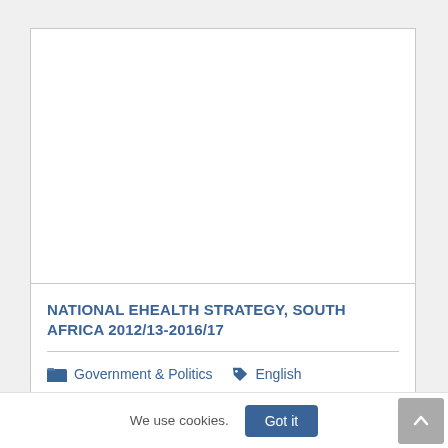[Figure (other): Blank white image area placeholder at the top of a document card]
NATIONAL EHEALTH STRATEGY, SOUTH AFRICA 2012/13-2016/17
Government & Politics  English
We use cookies.